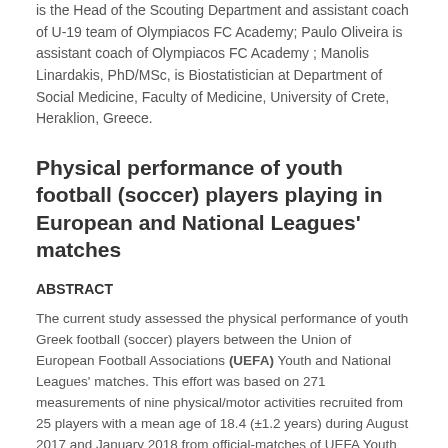is the Head of the Scouting Department and assistant coach of U-19 team of Olympiacos FC Academy; Paulo Oliveira is assistant coach of Olympiacos FC Academy ; Manolis Linardakis, PhD/MSc, is Biostatistician at Department of Social Medicine, Faculty of Medicine, University of Crete, Heraklion, Greece.
Physical performance of youth football (soccer) players playing in European and National Leagues' matches
ABSTRACT
The current study assessed the physical performance of youth Greek football (soccer) players between the Union of European Football Associations (UEFA) Youth and National Leagues' matches. This effort was based on 271 measurements of nine physical/motor activities recruited from 25 players with a mean age of 18.4 (±1.2 years) during August 2017 and January 2018 from official-matches of UEFA Youth (n=6) and National Leagues (n=16). Measurements were recruited using Global-